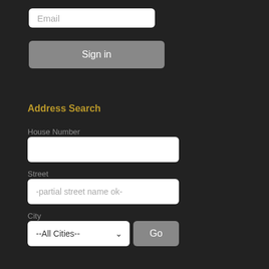Email
Sign in
Address Search
House Number
Street
-partial street name ok-
City
--All Cities--
Go